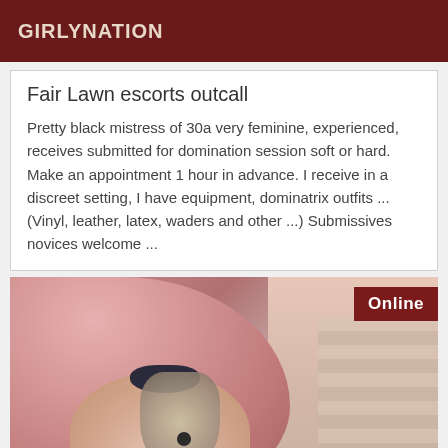GIRLYNATION
Fair Lawn escorts outcall
Pretty black mistress of 30a very feminine, experienced, receives submitted for domination session soft or hard. Make an appointment 1 hour in advance. I receive in a discreet setting, I have equipment, dominatrix outfits ... (Vinyl, leather, latex, waders and other ...) Submissives novices welcome ...
[Figure (photo): Close-up photo of a woman with pink/auburn hair, dark lipstick, and an ornate dangling earring. An 'Online' badge appears in the top-right corner of the photo.]